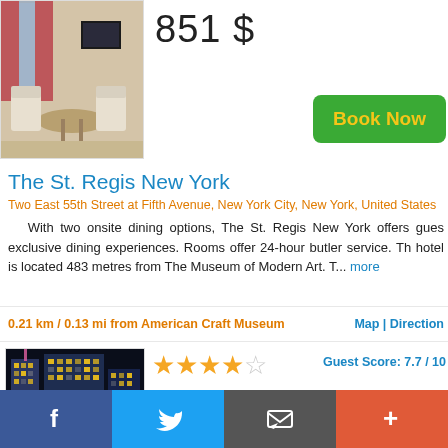[Figure (photo): Hotel room interior with chairs, table, curtains]
851 $
Book Now
The St. Regis New York
Two East 55th Street at Fifth Avenue, New York City, New York, United States
With two onsite dining options, The St. Regis New York offers guests exclusive dining experiences. Rooms offer 24-hour butler service. The hotel is located 483 metres from The Museum of Modern Art. T... more
0.21 km / 0.13 mi from American Craft Museum
Map | Direction
[Figure (photo): Hotel building exterior at night with city lights]
Guest Score: 7.7 / 10
from
293 $
f  (Twitter bird)  (email icon)  +